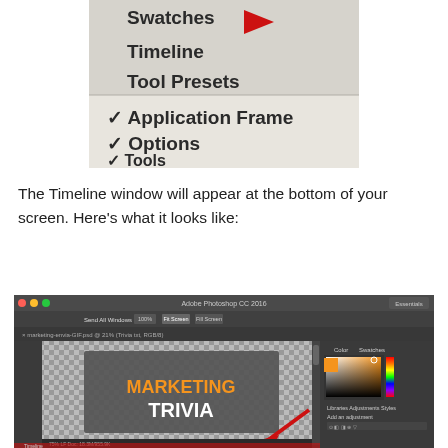[Figure (screenshot): Screenshot of Adobe Photoshop Window menu showing Swatches (with red arrow pointing right), Timeline, Tool Presets options, and checkmarked items: Application Frame, Options, Tools. Menu has a light gray/beige background.]
The Timeline window will appear at the bottom of your screen. Here's what it looks like:
[Figure (screenshot): Screenshot of Adobe Photoshop CC 2016 application showing a canvas with a checkered transparency pattern containing a dark gray rectangle with 'MARKETING TRIVIA' text (MARKETING in orange, TRIVIA in white). A red arrow points to the Timeline panel at the bottom of the screen. The right side shows Color/Swatches panel, Adjustments panel, and Layers panel.]